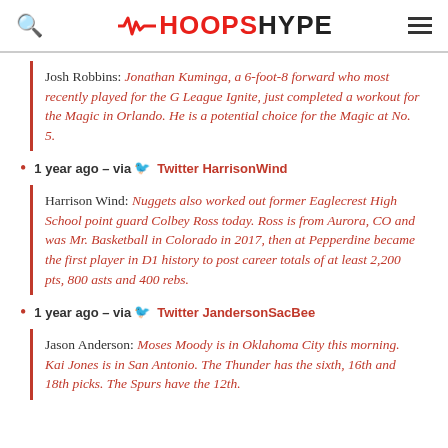HOOPSHYPE
Josh Robbins: Jonathan Kuminga, a 6-foot-8 forward who most recently played for the G League Ignite, just completed a workout for the Magic in Orlando. He is a potential choice for the Magic at No. 5.
1 year ago – via Twitter HarrisonWind
Harrison Wind: Nuggets also worked out former Eaglecrest High School point guard Colbey Ross today. Ross is from Aurora, CO and was Mr. Basketball in Colorado in 2017, then at Pepperdine became the first player in D1 history to post career totals of at least 2,200 pts, 800 asts and 400 rebs.
1 year ago – via Twitter JandersonSacBee
Jason Anderson: Moses Moody is in Oklahoma City this morning. Kai Jones is in San Antonio. The Thunder has the sixth, 16th and 18th picks. The Spurs have the 12th.